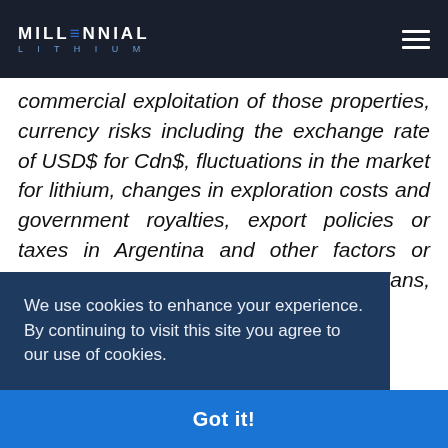MILLENNIAL LITHIUM
commercial exploitation of those properties, currency risks including the exchange rate of USD$ for Cdn$, fluctuations in the market for lithium, changes in exploration costs and government royalties, export policies or taxes in Argentina and other factors or information. The Company's current plans, expectations and [partially obscured] f its [partially obscured] may [partially obscured] g out [partially obscured] rrent [partially obscured] bility to secure further financing or funding of th
We use cookies to enhance your experience. By continuing to visit this site you agree to our use of cookies.
Got it!